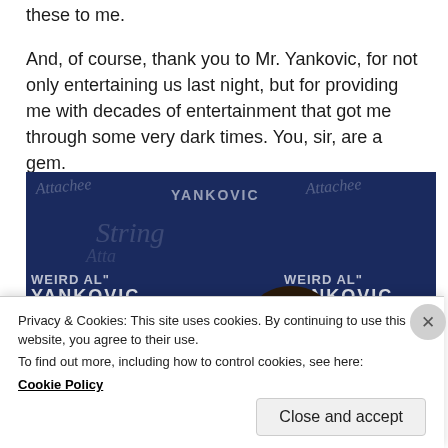these to me.
And, of course, thank you to Mr. Yankovic, for not only entertaining us last night, but for providing me with decades of entertainment that got me through some very dark times. You, sir, are a gem.
[Figure (photo): Photo of two people posing in front of a Weird Al Yankovic branded backdrop. The backdrop is dark blue with 'WEIRD AL YANKOVIC' text repeated. Two people are visible: one shorter person with gray hair and glasses on the left, and a taller person with long curly dark hair wearing a pink top on the right, smiling.]
Privacy & Cookies: This site uses cookies. By continuing to use this website, you agree to their use.
To find out more, including how to control cookies, see here: Cookie Policy
Close and accept